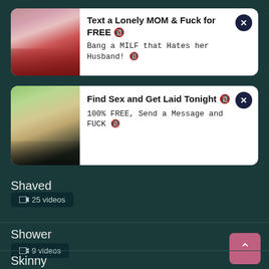[Figure (screenshot): Ad card 1: image of woman in red dress on left, text 'Text a Lonely MOM & Fuck for FREE' and 'Bang a MILF that Hates her Husband!' on right, with close button]
[Figure (screenshot): Ad card 2: image of young woman in bikini on left, text 'Find Sex and Get Laid Tonight' and '100% FREE, Send a Message and FUCK' on right, with close button]
Shaved
25 videos
Shower
9 videos
Skinny